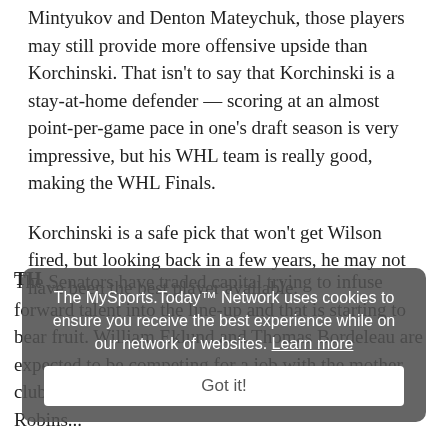Mintyukov and Denton Mateychuk, those players may still provide more offensive upside than Korchinski. That isn't to say that Korchinski is a stay-at-home defender — scoring at an almost point-per-game pace in one's draft season is very impressive, but his WHL team is really good, making the WHL Finals.
Korchinski is a safe pick that won't get Wilson fired, but looking back in a few years, he may not have been the best player available.
The MySports.Today™ Network uses cookies to ensure you receive the best experience while on our network of websites. Learn more
Got it!
The Senators have traded capital trying to infuse forward talent into the line-up and that is starting to bear fruit. William Eklund and Thomas Bordeleau are expected to be competing for a job with the mother club this season, while Ozzy Wiesblatt, Triston Robins...